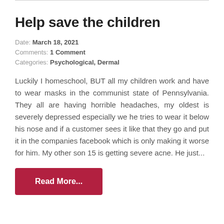Help save the children
Date: March 18, 2021
Comments: 1 Comment
Categories: Psychological, Dermal
Luckily I homeschool, BUT all my children work and have to wear masks in the communist state of Pennsylvania. They all are having horrible headaches, my oldest is severely depressed especially we he tries to wear it below his nose and if a customer sees it like that they go and put it in the companies facebook which is only making it worse for him. My other son 15 is getting severe acne. He just...
Read More...